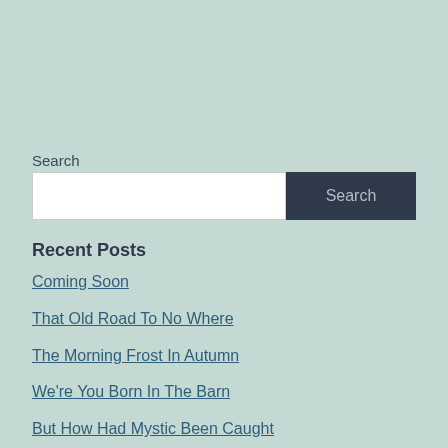Search
[Figure (screenshot): Search input box with white background and a dark navy 'Search' button on the right]
Recent Posts
Coming Soon
That Old Road To No Where
The Morning Frost In Autumn
We're You Born In The Barn
But How Had Mystic Been Caught